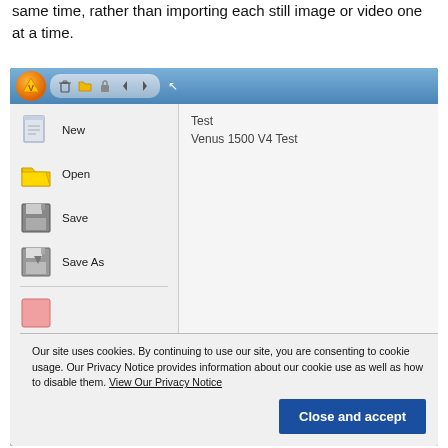same time, rather than importing each still image or video one at a time.
[Figure (screenshot): Screenshot of a software application (Venus 1500 V4) showing a menu with New, Open, Save, Save As options on the left panel, and a project list showing 'Test' and 'Venus 1500 V4 Test' on the right panel. A cookie consent banner overlays the bottom of the screenshot with a 'Close and accept' button.]